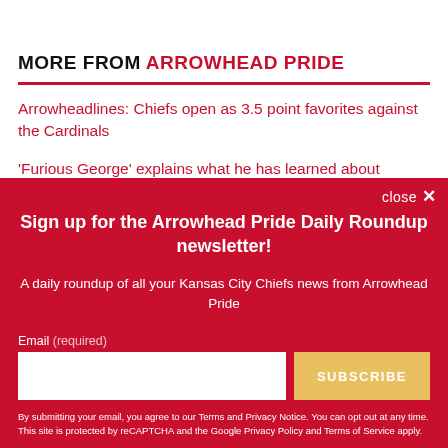MORE FROM ARROWHEAD PRIDE
Arrowheadlines: Chiefs open as 3.5 point favorites against the Cardinals
'Furious George' explains what he has learned about
Sign up for the Arrowhead Pride Daily Roundup newsletter!
A daily roundup of all your Kansas City Chiefs news from Arrowhead Pride
Email (required)
SUBSCRIBE
By submitting your email, you agree to our Terms and Privacy Notice. You can opt out at any time. This site is protected by reCAPTCHA and the Google Privacy Policy and Terms of Service apply.